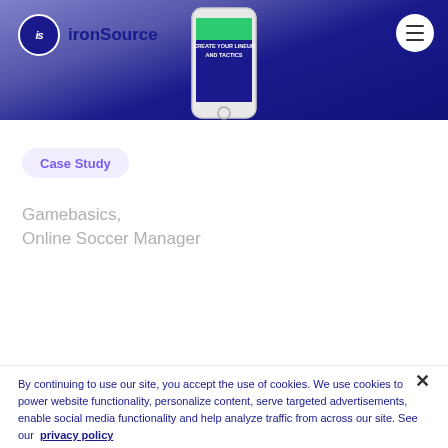ironSource
[Figure (screenshot): Mobile phone screenshot showing a soccer manager game app with text CREATE YOUR LINEUP AND TACTICS on a dark background, displayed on a white smartphone]
Case Study
Gamebasics, Online Soccer Manager
[Figure (illustration): Social media icons row: Facebook, LinkedIn, Twitter circle icons and a Subscribe button with arrow icon]
By continuing to use our site, you accept the use of cookies. We use cookies to power website functionality, personalize content, serve targeted advertisements, enable social media functionality and help analyze traffic from across our site. See our privacy policy